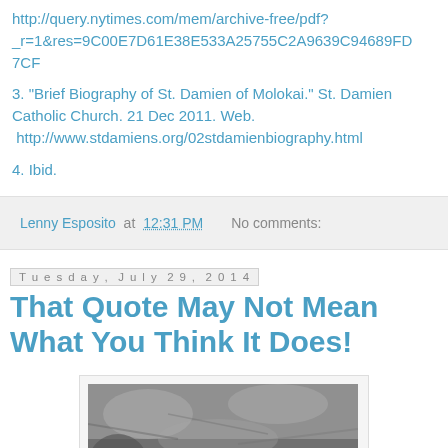http://query.nytimes.com/mem/archive-free/pdf?_r=1&res=9C00E7D61E38E533A25755C2A9639C94689FD7CF
3. "Brief Biography of St. Damien of Molokai." St. Damien Catholic Church. 21 Dec 2011. Web. http://www.stdamiens.org/02stdamienbiography.html
4. Ibid.
Lenny Esposito at 12:31 PM   No comments:
Tuesday, July 29, 2014
That Quote May Not Mean What You Think It Does!
[Figure (photo): Black and white photograph, appears to show a rocky or natural landscape scene with a figure visible at the bottom center.]